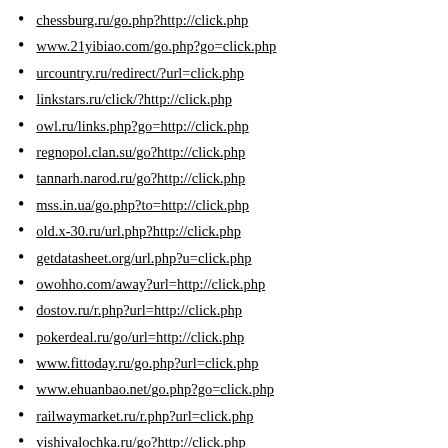chessburg.ru/go.php?http://click.php
www.21yibiao.com/go.php?go=click.php
urcountry.ru/redirect/?url=click.php
linkstars.ru/click/?http://click.php
owl.ru/links.php?go=http://click.php
regnopol.clan.su/go?http://click.php
tannarh.narod.ru/go?http://click.php
mss.in.ua/go.php?to=http://click.php
old.x-30.ru/url.php?http://click.php
getdatasheet.org/url.php?u=click.php
owohho.com/away?url=http://click.php
dostov.ru/r.php?url=http://click.php
pokerdeal.ru/go/url=http://click.php
www.fittoday.ru/go.php?url=click.php
www.ehuanbao.net/go.php?go=click.php
railwaymarket.ru/r.php?url=click.php
vishivalochka.ru/go?http://click.php
catalog.dir.bg/url.php?URL=click.php
pda.novospress.ru/go?http:/click.php